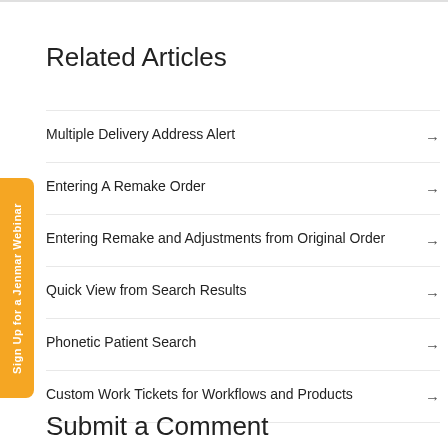Related Articles
Multiple Delivery Address Alert →
Entering A Remake Order →
Entering Remake and Adjustments from Original Order →
Quick View from Search Results →
Phonetic Patient Search →
Custom Work Tickets for Workflows and Products →
Submit a Comment